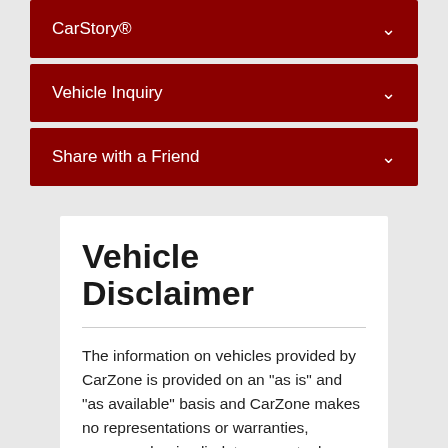CarStory®
Vehicle Inquiry
Share with a Friend
Vehicle Disclaimer
The information on vehicles provided by CarZone is provided on an "as is" and "as available" basis and CarZone makes no representations or warranties, expressed or implied, to any actual or prospective purchaser or owner of any vehicle as to the existence, ownership, or condition of the vehicle or as to the accuracy or completeness of any information about the vehicle contained in this service. CarZone reserves the right to terminate any product or price at